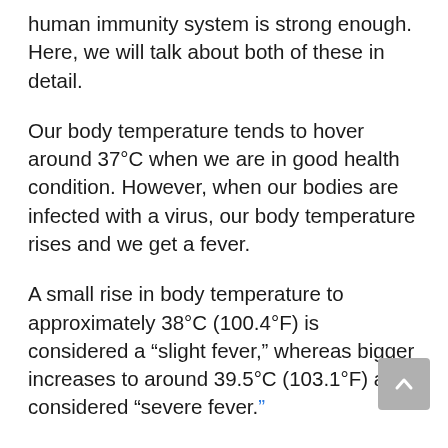human immunity system is strong enough. Here, we will talk about both of these in detail.
Our body temperature tends to hover around 37°C when we are in good health condition. However, when our bodies are infected with a virus, our body temperature rises and we get a fever.
A small rise in body temperature to approximately 38°C (100.4°F) is considered a “slight fever,” whereas bigger increases to around 39.5°C (103.1°F) are considered “severe fever.”
For example, when we have influenza, we may have a minor but unpleasant illness.